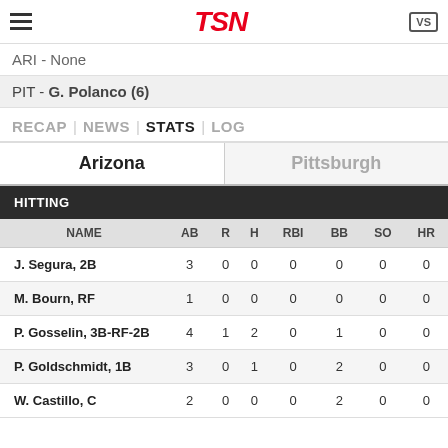TSN
ARI - None
PIT - G. Polanco (6)
RECAP | NEWS | STATS | LOG
| NAME | AB | R | H | RBI | BB | SO | HR |
| --- | --- | --- | --- | --- | --- | --- | --- |
| J. Segura, 2B | 3 | 0 | 0 | 0 | 0 | 0 | 0 |
| M. Bourn, RF | 1 | 0 | 0 | 0 | 0 | 0 | 0 |
| P. Gosselin, 3B-RF-2B | 4 | 1 | 2 | 0 | 1 | 0 | 0 |
| P. Goldschmidt, 1B | 3 | 0 | 1 | 0 | 2 | 0 | 0 |
| W. Castillo, C | 2 | 0 | 0 | 0 | 2 | 0 | 0 |